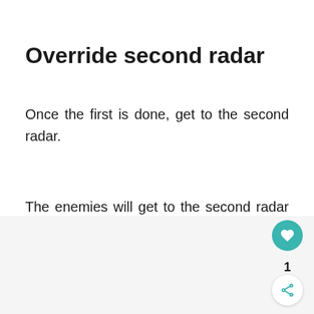Override second radar
Once the first is done, get to the second radar.
The enemies will get to the second radar before you do.